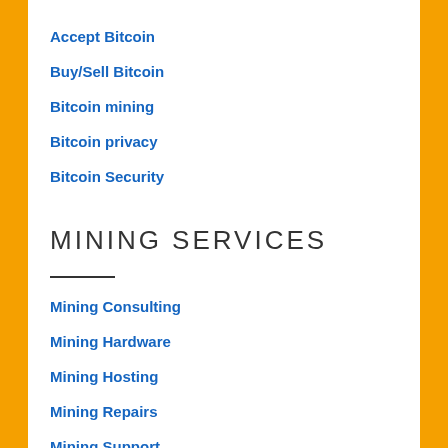Accept Bitcoin
Buy/Sell Bitcoin
Bitcoin mining
Bitcoin privacy
Bitcoin Security
MINING SERVICES
Mining Consulting
Mining Hardware
Mining Hosting
Mining Repairs
Mining Support